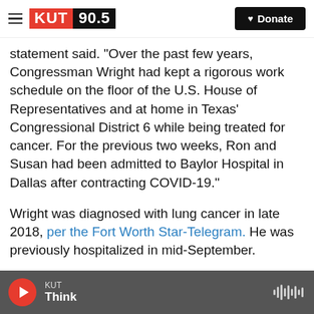[Figure (logo): KUT 90.5 radio station logo with hamburger menu and Donate button]
statement said. 'Over the past few years, Congressman Wright had kept a rigorous work schedule on the floor of the U.S. House of Representatives and at home in Texas' Congressional District 6 while being treated for cancer. For the previous two weeks, Ron and Susan had been admitted to Baylor Hospital in Dallas after contracting COVID-19."
Wright was diagnosed with lung cancer in late 2018, per the Fort Worth Star-Telegram. He was previously hospitalized in mid-September.
Wright was in his second term in the U.S. House
[Figure (screenshot): KUT audio player bar showing play button and Think program]